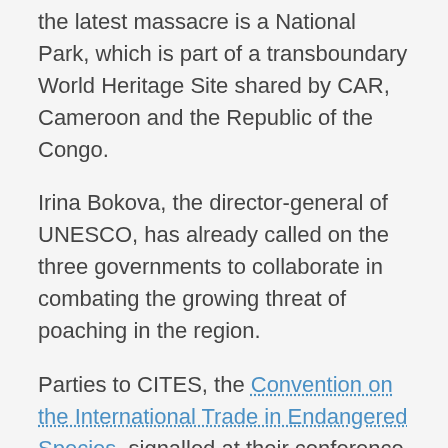the latest massacre is a National Park, which is part of a transboundary World Heritage Site shared by CAR, Cameroon and the Republic of the Congo.
Irina Bokova, the director-general of UNESCO, has already called on the three governments to collaborate in combating the growing threat of poaching in the region.
Parties to CITES, the Convention on the International Trade in Endangered Species, signalled at their conference in Bangkok earlier this year that they meant to get tough, placing eight countries – both supply and consumer states – on notice to get their house in order and take the requisite steps to eradicate the illegal trade in ivory products.
The Convention on Migratory Species (CMS) has a strong mandate to conserve endangered species such as